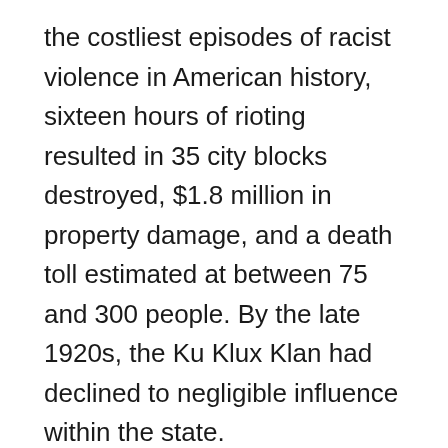the costliest episodes of racist violence in American history, sixteen hours of rioting resulted in 35 city blocks destroyed, $1.8 million in property damage, and a death toll estimated at between 75 and 300 people. By the late 1920s, the Ku Klux Klan had declined to negligible influence within the state.
During the 1930s, parts of the state began suffering the consequences of poor farming practices. This period was known as the Dust Bowl, throughout which areas of Kansas, Texas, New Mexico and northwestern Oklahoma were hampered by long periods of